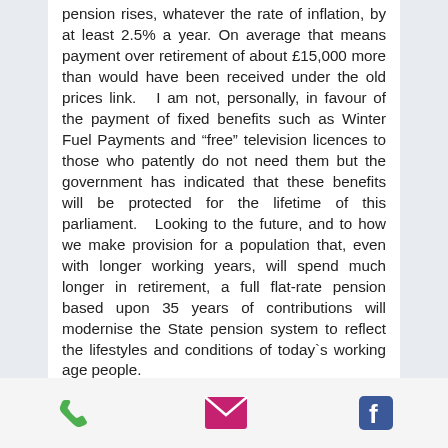pension rises, whatever the rate of inflation, by at least 2.5% a year. On average that means payment over retirement of about £15,000 more than would have been received under the old prices link.   I am not, personally, in favour of the payment of fixed benefits such as Winter Fuel Payments and “free” television licences to those who patently do not need them but the government has indicated that these benefits will be protected for the lifetime of this parliament.   Looking to the future, and to how we make provision for a population that, even with longer working years, will spend much longer in retirement, a full flat-rate pension based upon 35 years of contributions will modernise the State pension system to reflect the lifestyles and conditions of today’s working age people.
[Figure (other): Footer bar with three icons: phone (green), email/envelope (pink/red), and Facebook (blue)]